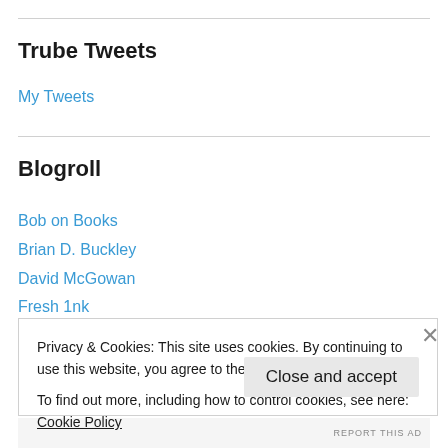Trube Tweets
My Tweets
Blogroll
Bob on Books
Brian D. Buckley
David McGowan
Fresh 1nk
Going Deeper
Privacy & Cookies: This site uses cookies. By continuing to use this website, you agree to their use.
To find out more, including how to control cookies, see here: Cookie Policy
Close and accept